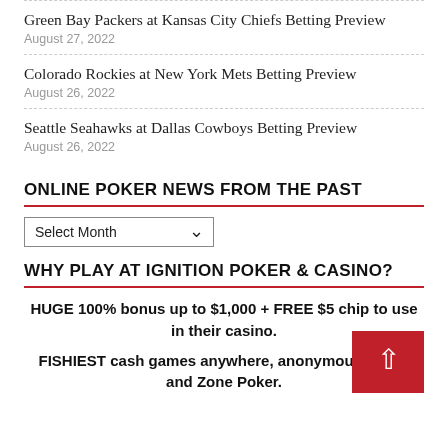Green Bay Packers at Kansas City Chiefs Betting Preview
August 27, 2022
Colorado Rockies at New York Mets Betting Preview
August 26, 2022
Seattle Seahawks at Dallas Cowboys Betting Preview
August 26, 2022
ONLINE POKER NEWS FROM THE PAST
Select Month
WHY PLAY AT IGNITION POKER & CASINO?
HUGE 100% bonus up to $1,000 + FREE $5 chip to use in their casino.
FISHIEST cash games anywhere, anonymous tables and Zone Poker.